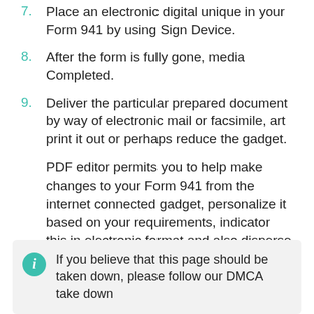7. Place an electronic digital unique in your Form 941 by using Sign Device.
8. After the form is fully gone, media Completed.
9. Deliver the particular prepared document by way of electronic mail or facsimile, art print it out or perhaps reduce the gadget.
PDF editor permits you to help make changes to your Form 941 from the internet connected gadget, personalize it based on your requirements, indicator this in electronic format and also disperse differently.
If you believe that this page should be taken down, please follow our DMCA take down